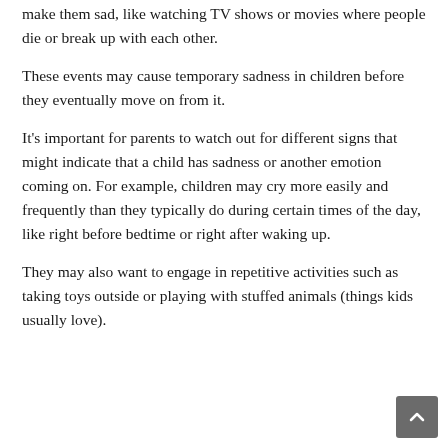make them sad, like watching TV shows or movies where people die or break up with each other.
These events may cause temporary sadness in children before they eventually move on from it.
It's important for parents to watch out for different signs that might indicate that a child has sadness or another emotion coming on. For example, children may cry more easily and frequently than they typically do during certain times of the day, like right before bedtime or right after waking up.
They may also want to engage in repetitive activities such as taking toys outside or playing with stuffed animals (things kids usually love).